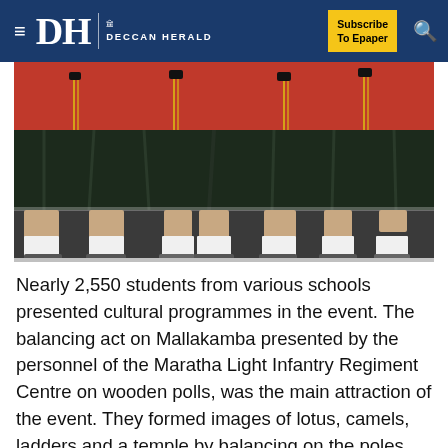DH DECCAN HERALD | Subscribe To Epaper
[Figure (photo): Students in red military-style uniforms with dark skirts/kilts and white socks, marching or standing in formation, viewed from torso down]
Nearly 2,550 students from various schools presented cultural programmes in the event. The balancing act on Mallakamba presented by the personnel of the Maratha Light Infantry Regiment Centre on wooden polls, was the main attraction of the event. They formed images of lotus, camels, ladders and a temple by balancing on the poles. Mallakamba is one of the oldest and popular traditions of